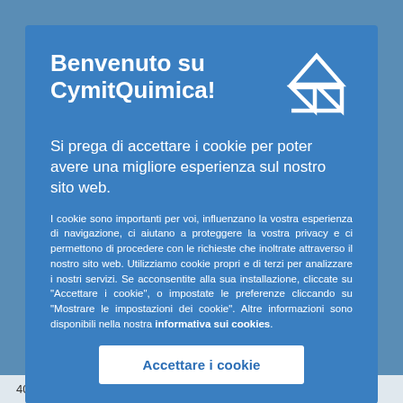Benvenuto su CymitQuimica!
Si prega di accettare i cookie per poter avere una migliore esperienza sul nostro sito web.
I cookie sono importanti per voi, influenzano la vostra esperienza di navigazione, ci aiutano a proteggere la vostra privacy e ci permettono di procedere con le richieste che inoltrate attraverso il nostro sito web. Utilizziamo cookie propri e di terzi per analizzare i nostri servizi. Se acconsentite alla sua installazione, cliccate su "Accettare i cookie", o impostate le preferenze cliccando su "Mostrare le impostazioni dei cookie". Altre informazioni sono disponibili nella nostra informativa sui cookies.
Accettare i cookie
40% in Water)